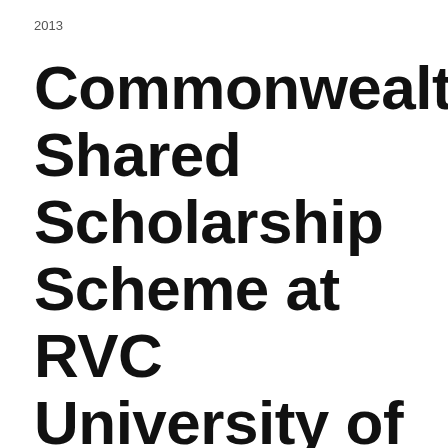2013
Commonwealth Shared Scholarship Scheme at RVC University of London in UK